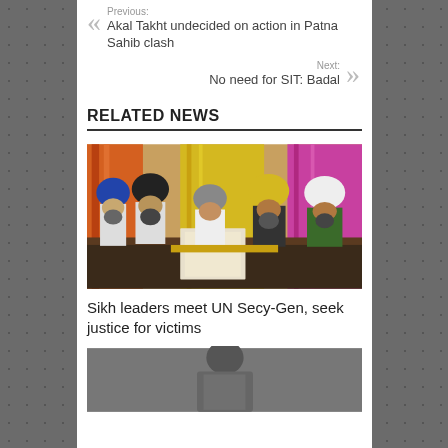Previous:
Akal Takht undecided on action in Patna Sahib clash
Next:
No need for SIT: Badal
RELATED NEWS
[Figure (photo): Group of Sikh leaders including men in turbans and a woman seated at a table, holding documents, with colorful curtains in background]
Sikh leaders meet UN Secy-Gen, seek justice for victims
[Figure (photo): Partial view of a person in grey clothing]